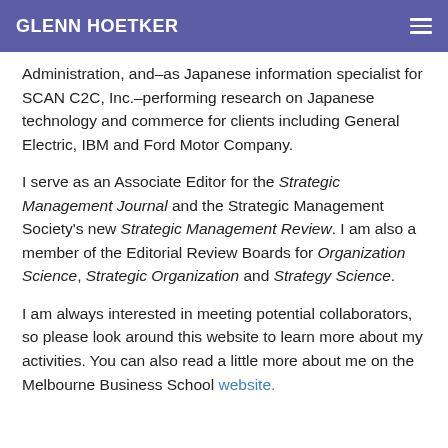GLENN HOETKER
Administration, and–as Japanese information specialist for SCAN C2C, Inc.–performing research on Japanese technology and commerce for clients including General Electric, IBM and Ford Motor Company.
I serve as an Associate Editor for the Strategic Management Journal and the Strategic Management Society's new Strategic Management Review. I am also a member of the Editorial Review Boards for Organization Science, Strategic Organization and Strategy Science.
I am always interested in meeting potential collaborators, so please look around this website to learn more about my activities. You can also read a little more about me on the Melbourne Business School website.